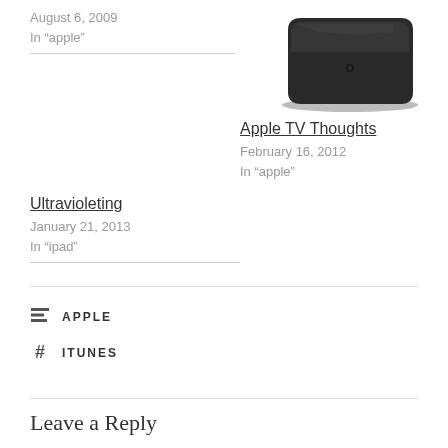August 6, 2009
In "apple"
[Figure (photo): Apple TV device photo - black square box viewed from slight angle]
Apple TV Thoughts
February 16, 2012
In "apple"
Ultravioleting
January 21, 2013
In "ipad"
APPLE
ITUNES
Leave a Reply